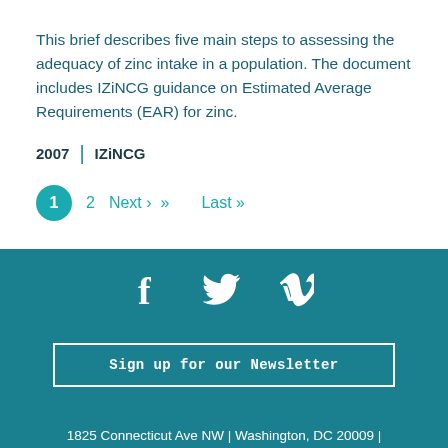This brief describes five main steps to assessing the adequacy of zinc intake in a population. The document includes IZiNCG guidance on Estimated Average Requirements (EAR) for zinc.
2007  |  IZiNCG
1  2  Next ›  »  Last »
[Figure (infographic): Social media icons: Facebook (f), Twitter (bird), Vimeo (V)]
Sign up for our Newsletter
1825 Connecticut Ave NW | Washington, DC 20009 | 1-202-884-8370
Privacy Notice | Cookie Notice